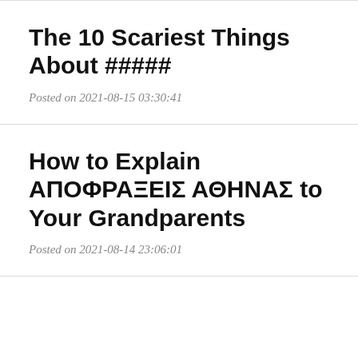The 10 Scariest Things About #####
Posted on 2021-08-15 03:30:41
How to Explain ΑΠΟΦΡΑΞΕΙΣ ΑΘΗΝΑΣ to Your Grandparents
Posted on 2021-08-14 23:06:01